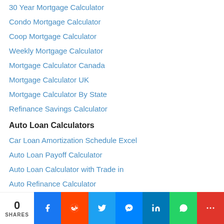30 Year Mortgage Calculator
Condo Mortgage Calculator
Coop Mortgage Calculator
Weekly Mortgage Calculator
Mortgage Calculator Canada
Mortgage Calculator UK
Mortgage Calculator By State
Refinance Savings Calculator
Auto Loan Calculators
Car Loan Amortization Schedule Excel
Auto Loan Payoff Calculator
Auto Loan Calculator with Trade in
Auto Refinance Calculator
Biweekly Auto Loan Calculator
RV Loan Calculator
0 SHARES | Facebook | Reddit | Twitter | Messenger | LinkedIn | WhatsApp | More